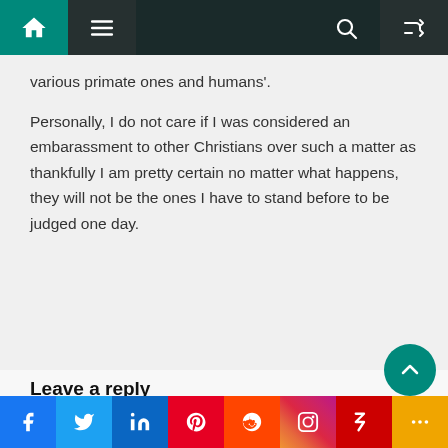Navigation bar with home, menu, search, and shuffle icons
various primate ones and humans'.
Personally, I do not care if I was considered an embarassment to other Christians over such a matter as thankfully I am pretty certain no matter what happens, they will not be the ones I have to stand before to be judged one day.
Leave a reply
Default Comments (45)	Facebook Comments
Social share bar: Facebook, Twitter, LinkedIn, Pinterest, Reddit, Instagram, Flipboard, More